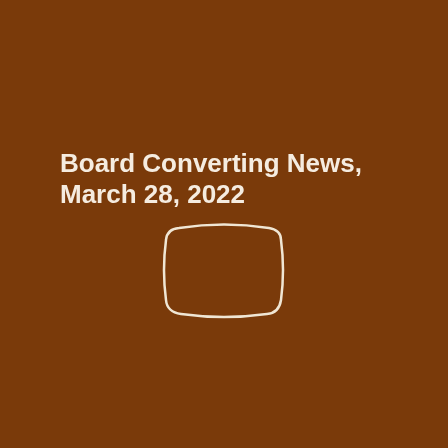Board Converting News, March 28, 2022
[Figure (logo): A rounded rectangle outline icon in cream/off-white color on a brown background, resembling a publication or book cover logo]